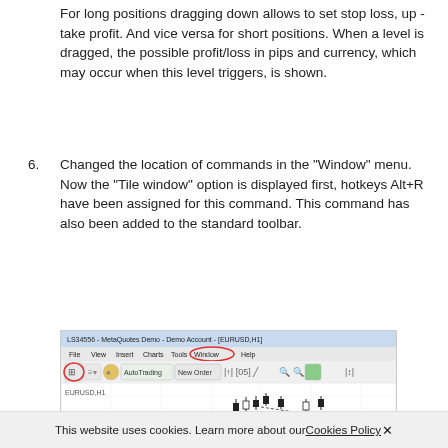For long positions dragging down allows to set stop loss, up - take profit. And vice versa for short positions. When a level is dragged, the possible profit/loss in pips and currency, which may occur when this level triggers, is shown.
6. Changed the location of commands in the "Window" menu. Now the "Tile window" option is displayed first, hotkeys Alt+R have been assigned for this command. This command has also been added to the standard toolbar.
[Figure (screenshot): MetaQuotes Demo trading platform screenshot showing the toolbar with Window menu highlighted in red circle and tile window icon highlighted in red circle.]
This website uses cookies. Learn more about our Cookies Policy ✕